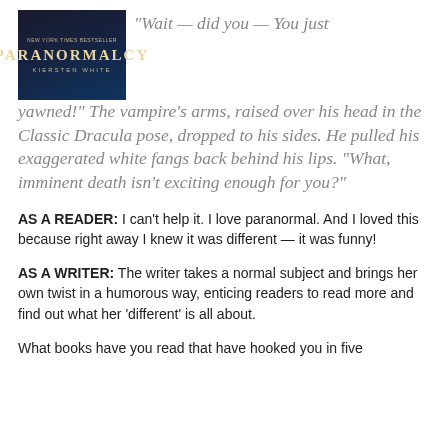[Figure (illustration): Book cover of 'Paranormalcy' by Kiersten White — dark background with title in large gold letters and author name below in spaced caps]
“Wait — did you — You just yawned!” The vampire’s arms, raised over his head in the Classic Dracula pose, dropped to his sides. He pulled his exaggerated white fangs back behind his lips. “What, imminent death isn’t exciting enough for you?”
AS A READER: I can’t help it. I love paranormal. And I loved this because right away I knew it was different — it was funny!
AS A WRITER: The writer takes a normal subject and brings her own twist in a humorous way, enticing readers to read more and find out what her ‘different’ is all about.
What books have you read that have hooked you in five